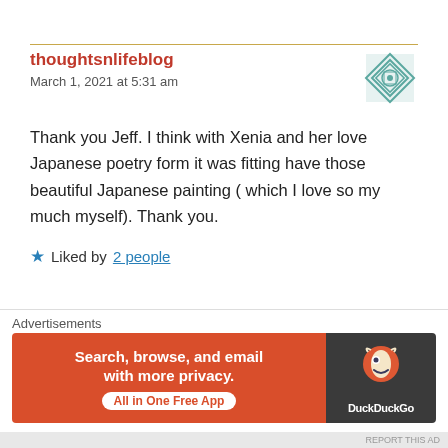thoughtsnlifeblog
March 1, 2021 at 5:31 am
Thank you Jeff. I think with Xenia and her love Japanese poetry form it was fitting have those beautiful Japanese painting ( which I love so my much myself). Thank you.
★ Liked by 2 people
Reply
robertawrites235681907
Advertisements
Search, browse, and email with more privacy. All in One Free App